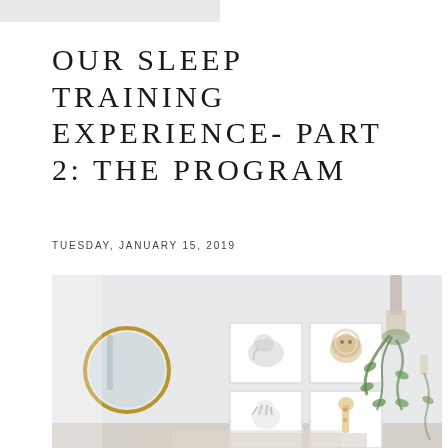OUR SLEEP TRAINING EXPERIENCE- PART 2: THE PROGRAM
TUESDAY, JANUARY 15, 2019
[Figure (photo): Nursery room with white walls, a round gold-framed mirror on the left, four framed animal prints (elephant, lion cub, zebra, giraffe) arranged in a 2x2 grid on the wall, and trailing green plants hanging from the upper right corner with macrame decor.]